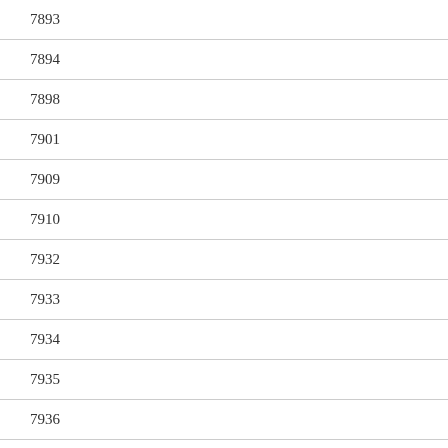7893
7894
7898
7901
7909
7910
7932
7933
7934
7935
7936